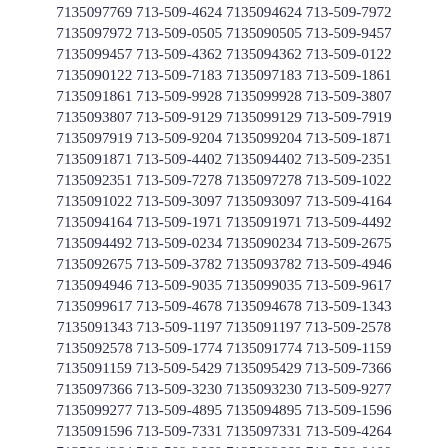7135097769 713-509-4624 7135094624 713-509-7972 7135097972 713-509-0505 7135090505 713-509-9457 7135099457 713-509-4362 7135094362 713-509-0122 7135090122 713-509-7183 7135097183 713-509-1861 7135091861 713-509-9928 7135099928 713-509-3807 7135093807 713-509-9129 7135099129 713-509-7919 7135097919 713-509-9204 7135099204 713-509-1871 7135091871 713-509-4402 7135094402 713-509-2351 7135092351 713-509-7278 7135097278 713-509-1022 7135091022 713-509-3097 7135093097 713-509-4164 7135094164 713-509-1971 7135091971 713-509-4492 7135094492 713-509-0234 7135090234 713-509-2675 7135092675 713-509-3782 7135093782 713-509-4946 7135094946 713-509-9035 7135099035 713-509-9617 7135099617 713-509-4678 7135094678 713-509-1343 7135091343 713-509-1197 7135091197 713-509-2578 7135092578 713-509-1774 7135091774 713-509-1159 7135091159 713-509-5429 7135095429 713-509-7366 7135097366 713-509-3230 7135093230 713-509-9277 7135099277 713-509-4895 7135094895 713-509-1596 7135091596 713-509-7331 7135097331 713-509-4264 7135094264 713-509-2660 7135092660 713-509-0100 7135090100 713-509-9944 7135099944 713-509-4268 7135094268 713-509-0899 7135090899 713-509-6829 7135096829 713-509-1133 7135091133 713-509-5609